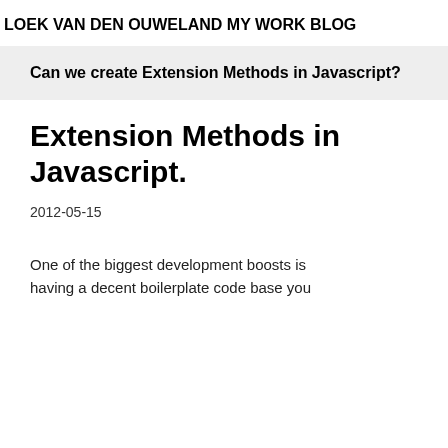LOEK VAN DEN OUWELAND
MY WORK
BLOG
Can we create Extension Methods in Javascript?
Extension Methods in Javascript.
2012-05-15
One of the biggest development boosts is having a decent boilerplate code base you